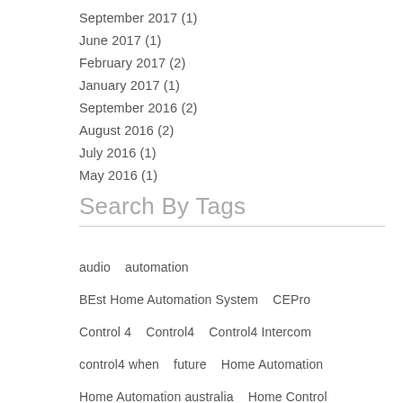September 2017 (1)
June 2017 (1)
February 2017 (2)
January 2017 (1)
September 2016 (2)
August 2016 (2)
July 2016 (1)
May 2016 (1)
Search By Tags
audio   automation
BEst Home Automation System   CEPro
Control 4   Control4   Control4 Intercom
control4 when   future   Home Automation
Home Automation australia   Home Control
Intercom Anywhere   Keypads
Master Control   Multi-room AV   Pick me Up